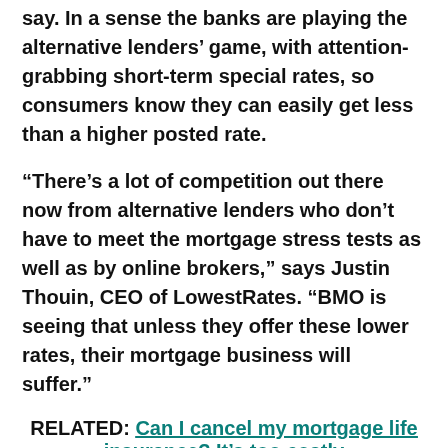say. In a sense the banks are playing the alternative lenders' game, with attention-grabbing short-term special rates, so consumers know they can easily get less than a higher posted rate.
“There’s a lot of competition out there now from alternative lenders who don’t have to meet the mortgage stress tests as well as by online brokers,” says Justin Thouin, CEO of LowestRates. “BMO is seeing that unless they offer these lower rates, their mortgage business will suffer.”
RELATED: Can I cancel my mortgage life insurance? It’s too costly
Mortgage expert Robert McLister agrees, adding, “you’ve seen rising interest rates and mortgage